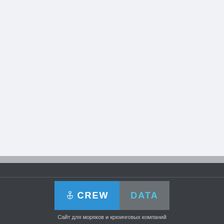[Figure (logo): CrewData.com logo with anchor icon on blue background (CREW) and gray background (DATA)]
Сайт для моряков и крюинговых компаний
© 2010-2022 CrewData.com
Политика конфиденциальности